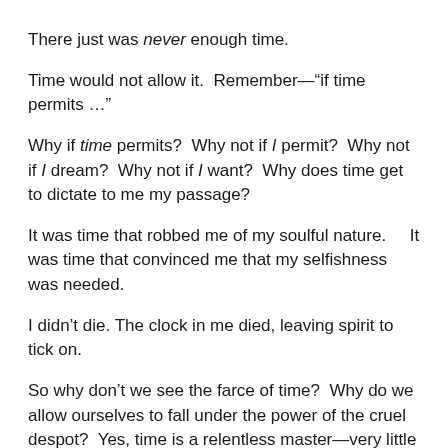There just was never enough time.
Time would not allow it.  Remember—“if time permits …”
Why if time permits?  Why not if I permit?  Why not if I dream?  Why not if I want?  Why does time get to dictate to me my passage?
It was time that robbed me of my soulful nature.    It was time that convinced me that my selfishness was needed.
I didn’t die. The clock in me died, leaving spirit to tick on.
So why don’t we see the farce of time?  Why do we allow ourselves to fall under the power of the cruel despot?  Yes, time is a relentless master—very little wage for much demand.